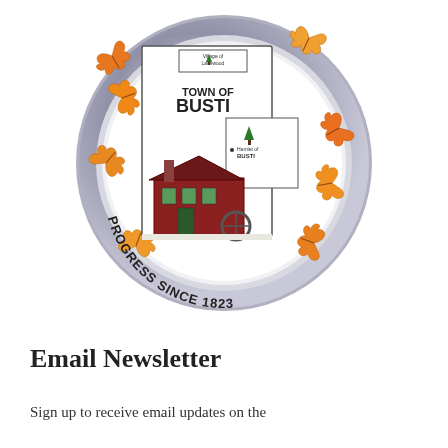[Figure (logo): Town of Busti municipal seal — circular seal with blue/silver border, autumn oak leaves, central map outline showing Village of Lakewood and Hamlet of Busti, historic red mill building, pine trees, text reading TOWN OF BUSTI and PROGRESS SINCE 1823]
Email Newsletter
Sign up to receive email updates on the